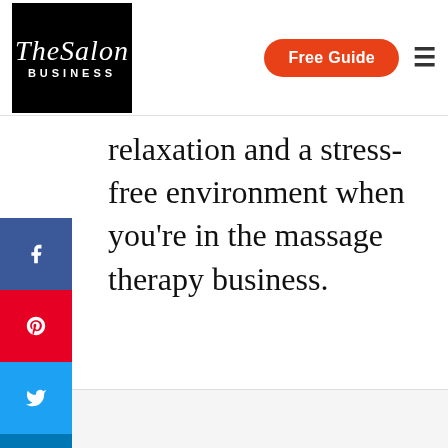The Salon Business — Free Guide
relaxation and a stress-free environment when you're in the massage therapy business.
[Figure (other): Social media share sidebar with Facebook, Pinterest, Twitter, LinkedIn, WhatsApp, and Email buttons]